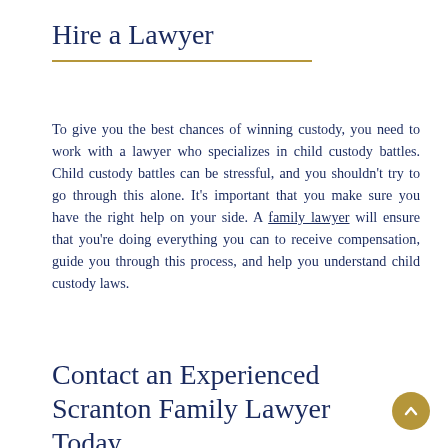Hire a Lawyer
To give you the best chances of winning custody, you need to work with a lawyer who specializes in child custody battles. Child custody battles can be stressful, and you shouldn't try to go through this alone. It's important that you make sure you have the right help on your side. A family lawyer will ensure that you're doing everything you can to receive compensation, guide you through this process, and help you understand child custody laws.
Contact an Experienced Scranton Family Lawyer Today